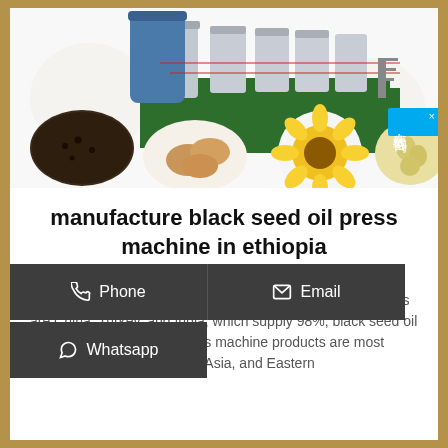[Figure (photo): Industrial oil press machine equipment with multiple tanks and pipes, surrounded by images of various seeds and nuts including black seeds, peanuts, sunflower, and soybeans on a white background with decorative floral watermark]
manufacture black seed oil press machine in ethiopia
There are 5,507 black seed oil press machine suppliers, mainly located in Asia. The top supplying countries or regions are China, Turkey, and India, which supply 98%, black seed oil press machine seed oil press machine products are most popular in Africa, Southeast Asia, and Eastern
[Figure (infographic): Dark gray overlay with three contact buttons: Phone, Email, and Whatsapp]